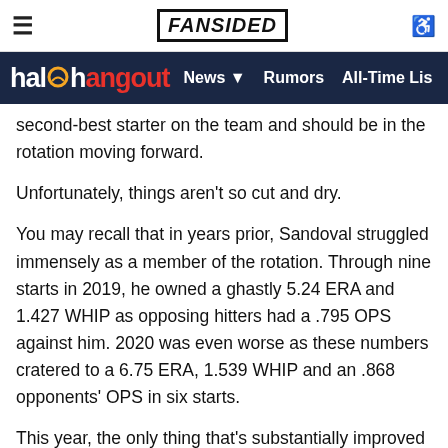FANSIDED — halo hangout | News | Rumors | All-Time Lis...
second-best starter on the team and should be in the rotation moving forward.
Unfortunately, things aren't so cut and dry.
You may recall that in years prior, Sandoval struggled immensely as a member of the rotation. Through nine starts in 2019, he owned a ghastly 5.24 ERA and 1.427 WHIP as opposing hitters had a .795 OPS against him. 2020 was even worse as these numbers cratered to a 6.75 ERA, 1.539 WHIP and an .868 opponents' OPS in six starts.
This year, the only thing that's substantially improved is Sandoval's ERA. His WHIP as a starter is still a subpar 1.429, while hitters are still hammering him to the tune of a .785 OPS.
By all accounts, control issues and an all too frequent inability to locate the strike zone are still plaguing Sandoval even though he is